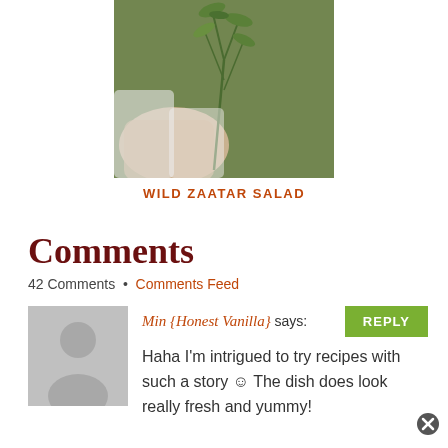[Figure (photo): Person holding green herb/zaatar plant, outdoor blurred background]
WILD ZAATAR SALAD
Comments
42 Comments • Comments Feed
[Figure (illustration): Generic user avatar placeholder - gray silhouette of a person]
Min {Honest Vanilla} says:
Haha I'm intrigued to try recipes with such a story ☺ The dish does look really fresh and yummy!